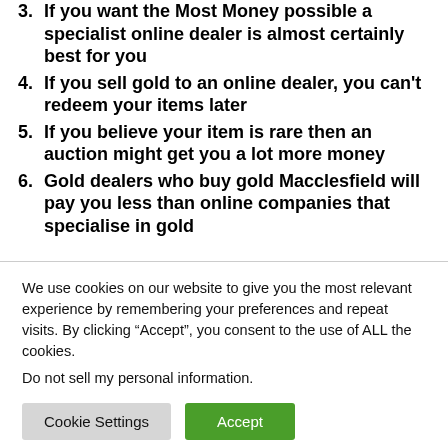3. If you want the Most Money possible a specialist online dealer is almost certainly best for you
4. If you sell gold to an online dealer, you can’t redeem your items later
5. If you believe your item is rare then an auction might get you a lot more money
6. Gold dealers who buy gold Macclesfield will pay you less than online companies that specialise in gold
We use cookies on our website to give you the most relevant experience by remembering your preferences and repeat visits. By clicking “Accept”, you consent to the use of ALL the cookies.
Do not sell my personal information.
Cookie Settings | Accept